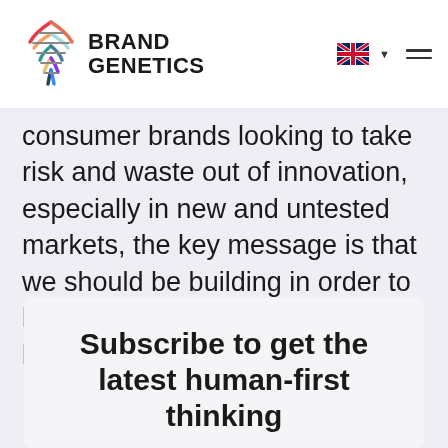BRAND GENETICS
consumer brands looking to take risk and waste out of innovation, especially in new and untested markets, the key message is that we should be building in order to learn, not learning in order to build.
Subscribe to get the latest human-first thinking
To hear more about what we